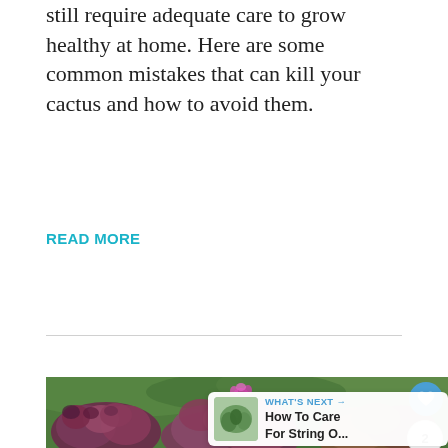still require adequate care to grow healthy at home. Here are some common mistakes that can kill your cactus and how to avoid them.
READ MORE
[Figure (photo): Close-up photograph of clusters of reddish-purple succulent rosette plants (likely Sempervivum/hens and chicks) with a small purple flower visible, against a blurred green background. UI overlay elements include a heart/like button (blue circle), a share button, a number '2', and a 'WHAT'S NEXT' badge showing 'How To Care For String O...']